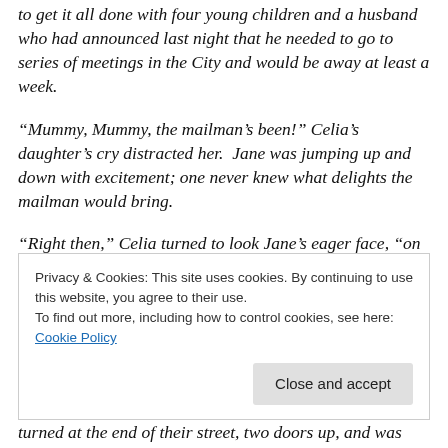to get it all done with four young children and a husband who had announced last night that he needed to go to series of meetings in the City and would be away at least a week.
“Mummy, Mummy, the mailman’s been!” Celia’s daughter’s cry distracted her.  Jane was jumping up and down with excitement; one never knew what delights the mailman would bring.
“Right then,” Celia turned to look Jane’s eager face, “on with your coat and let’s see what today’s mail brings.”
Privacy & Cookies: This site uses cookies. By continuing to use this website, you agree to their use.
To find out more, including how to control cookies, see here: Cookie Policy
turned at the end of their street, two doors up, and was